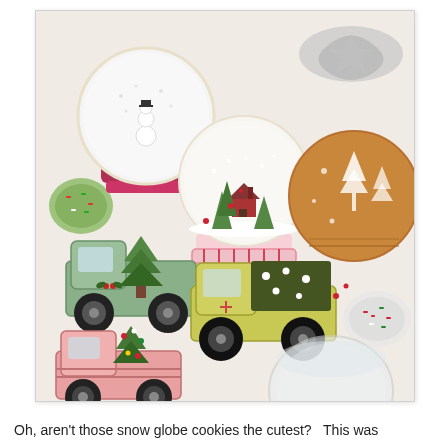[Figure (photo): Overhead photo of decorated Christmas cookies on a white surface. Cookies include snow globe cookies with snowman and winter scene, truck cookies carrying Christmas trees in green/yellow and pink, a round gingerbread cookie with white tree designs, and cookie cutters and sprinkle bowls visible around the edges.]
Oh, aren't those snow globe cookies the cutest?   This was